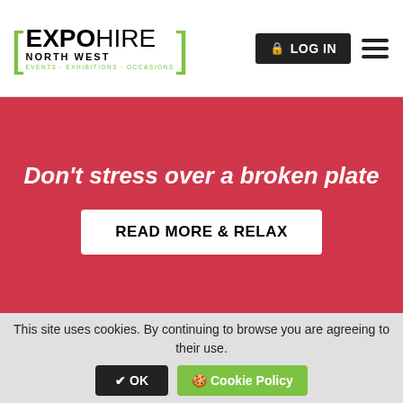EXPO HIRE NORTH WEST — EVENTS · EXHIBITIONS · OCCASIONS | LOG IN
Don't stress over a broken plate
READ MORE & RELAX
[Figure (infographic): Delivery truck icon above text: DELIVERY & COLLECTION FROM £20.00 — Transparent upfront pricing]
DELIVERY & COLLECTION FROM £20.00
Transparent upfront pricing
This site uses cookies. By continuing to browse you are agreeing to their use.  ✔ OK  🍪 Cookie Policy